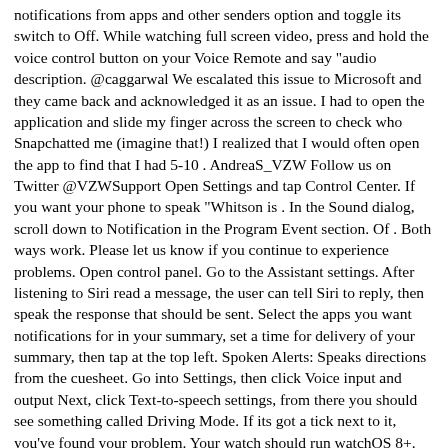notifications from apps and other senders option and toggle its switch to Off. While watching full screen video, press and hold the voice control button on your Voice Remote and say "audio description. @caggarwal We escalated this issue to Microsoft and they came back and acknowledged it as an issue. I had to open the application and slide my finger across the screen to check who Snapchatted me (imagine that!) I realized that I would often open the app to find that I had 5-10 . AndreaS_VZW Follow us on Twitter @VZWSupport Open Settings and tap Control Center. If you want your phone to speak "Whitson is . In the Sound dialog, scroll down to Notification in the Program Event section. Of . Both ways work. Please let us know if you continue to experience problems. Open control panel. Go to the Assistant settings. After listening to Siri read a message, the user can tell Siri to reply, then speak the response that should be sent. Select the apps you want notifications for in your summary, set a time for delivery of your summary, then tap at the top left. Spoken Alerts: Speaks directions from the cuesheet. Go into Settings, then click Voice input and output Next, click Text-to-speech settings, from there you should see something called Driving Mode. If its got a tick next to it, you've found your problem. Your watch should run watchOS 8+. Choose System from Windows Settings list. Click on Optimize visual display under Ease of Access. Use the down arrow on your remote to scroll down to All Settings. Tap the Announce Messages with Siri icon to turn the feature on, tap again to turn it off.